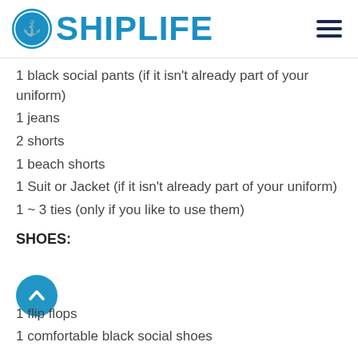SHIPLIFE
1 black social pants (if it isn't already part of your uniform)
1 jeans
2 shorts
1 beach shorts
1 Suit or Jacket (if it isn't already part of your uniform)
1 ~ 3 ties (only if you like to use them)
SHOES:
1 flip flops
1 comfortable black social shoes